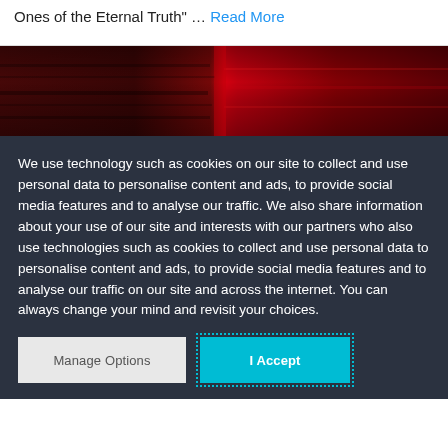the opening hymn of "Holy Piss – Blessed Ones of the Eternal Truth" … Read More
[Figure (photo): Abstract red and dark red painting with horizontal brushstrokes, split into darker left half and brighter red right half]
We use technology such as cookies on our site to collect and use personal data to personalise content and ads, to provide social media features and to analyse our traffic. We also share information about your use of our site and interests with our partners who also use technologies such as cookies to collect and use personal data to personalise content and ads, to provide social media features and to analyse our traffic on our site and across the internet. You can always change your mind and revisit your choices.
Manage Options
I Accept